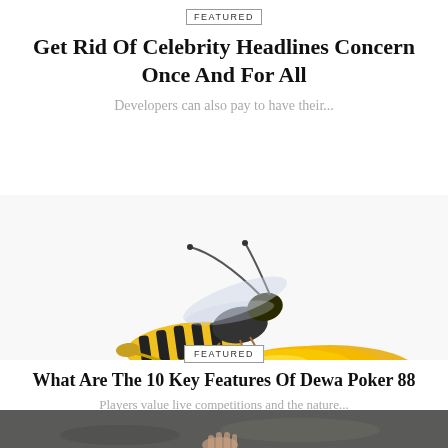FEATURED
Get Rid Of Celebrity Headlines Concern Once And For All
Developers can also pay to have their...
[Figure (photo): Close-up photo of a wasp drinking a drop of golden honey on a white surface]
FEATURED
What Are The 10 Key Features Of Dewa Poker 88
Players value live competitions and the nature...
[Figure (photo): Partial bottom strip showing a person's hands on a dark rocky surface]